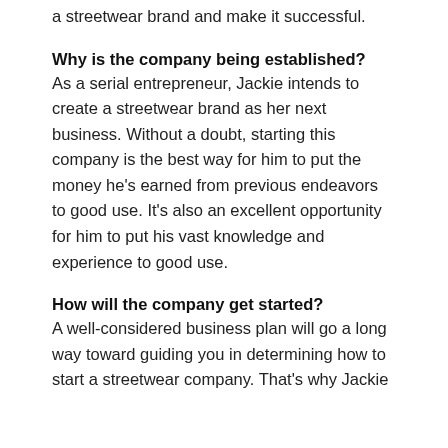a streetwear brand and make it successful.
Why is the company being established?
As a serial entrepreneur, Jackie intends to create a streetwear brand as her next business. Without a doubt, starting this company is the best way for him to put the money he’s earned from previous endeavors to good use. It’s also an excellent opportunity for him to put his vast knowledge and experience to good use.
How will the company get started?
A well-considered business plan will go a long way toward guiding you in determining how to start a streetwear company. That’s why Jackie